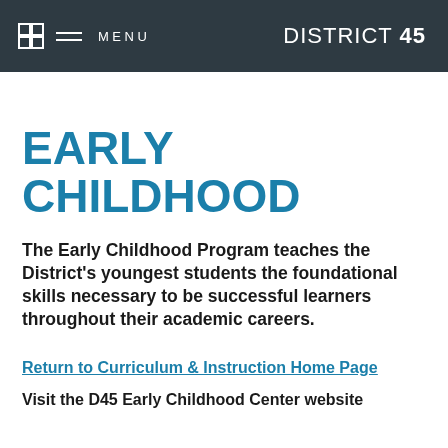MENU  DISTRICT 45
EARLY CHILDHOOD
The Early Childhood Program teaches the District's youngest students the foundational skills necessary to be successful learners throughout their academic careers.
Return to Curriculum & Instruction Home Page
Visit the D45 Early Childhood Center website